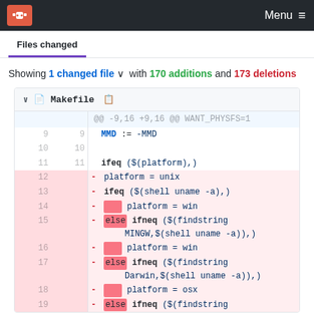Menu
Showing 1 changed file with 170 additions and 173 deletions
Makefile
@@ -9,16 +9,16 @@ WANT_PHYSFS=1
9  9  MMD := -MMD
10 10
11 11  ifeq ($(platform),)
12     - platform = unix
13     - ifeq ($(shell uname -a),)
14     -   platform = win
15     - else ifneq ($(findstring MINGW,$(shell uname -a)),)
16     -   platform = win
17     - else ifneq ($(findstring Darwin,$(shell uname -a)),)
18     -   platform = osx
19     - else ifneq ($(findstring